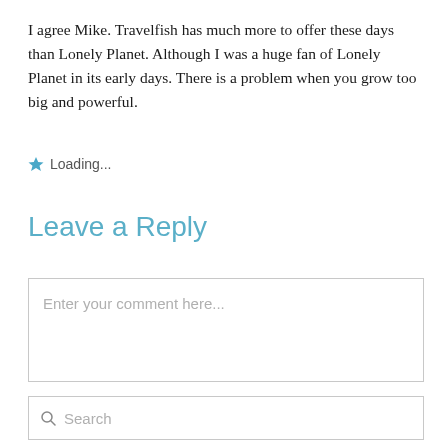I agree Mike. Travelfish has much more to offer these days than Lonely Planet. Although I was a huge fan of Lonely Planet in its early days. There is a problem when you grow too big and powerful.
Loading...
Leave a Reply
Enter your comment here...
Search